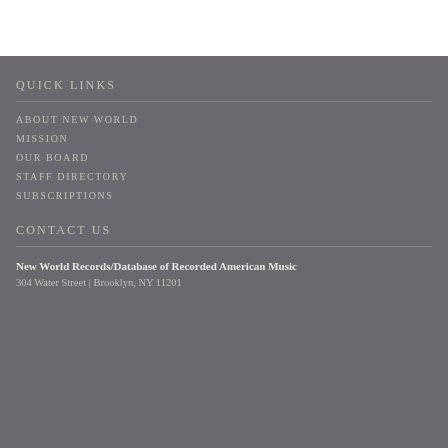QUICK LINKS
ABOUT NEW WORLD
MISSION
OUR BOARD
STAFF DIRECTORY
SUBSCRIPTIONS
CONTACT US
New World Records/Database of Recorded American Music
304 Water Street | Brooklyn, NY 11201